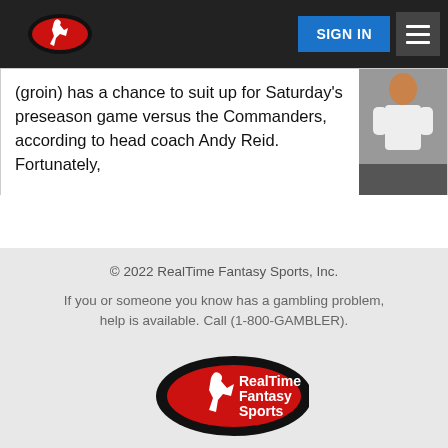RealTime Fantasy Sports — SIGN IN navigation header
(groin) has a chance to suit up for Saturday's preseason game versus the Commanders, according to head coach Andy Reid. Fortunately,
[Figure (photo): Photo of an NFL player in white jersey]
© 2022 RealTime Fantasy Sports, Inc.

If you or someone you know has a gambling problem, help is available. Call (1-800-GAMBLER).

Email Us · Call Us 636.447.1170

Terms of Use
Responsible Gaming